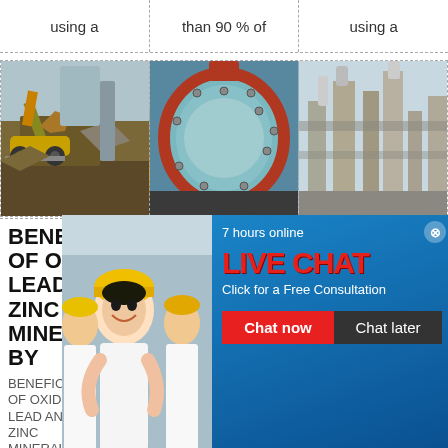using a
than 90% of
using a
[Figure (photo): Excavator at mining site with large rocks]
[Figure (photo): Industrial ball mill equipment, cylindrical green/red drum]
[Figure (photo): Industrial plant or refinery structures]
BENEFICIATION OF OXIDE LEAD AND ZINC MINERALS BY
BENEFICIATION OF OXIDE LEAD AND ZINC MINERALS BY SELECTIVE
FINE COAL BENEFICIATION BY PILOT COLUMN FLOTATION N. Vasumathi1#.
DEVELOPMENT
7 hours online
[Figure (infographic): Live chat popup overlay showing workers in hard hats, LIVE CHAT text, Click for a Free Consultation, Chat now and Chat later buttons, smiley face with headset, Click me to chat button, Enquiry section, cywaitml@gmail.com email]
Enquiry
cywaitml@gmail.com